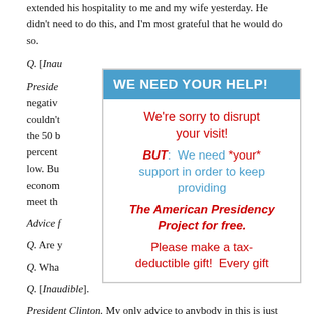extended his hospitality to me and my wife yesterday. He didn't need to do this, and I'm most grateful that he would do so.
Q. [Inau...
President... row of negativ... But we couldn't... 49 of the 50 b... percent... rment low. Bu... have econom... ce to meet th...
Advice f...
Q. Are y...
Q. Wha...
Q. [Inaudible].
President Clinton. My only advice to anybody in this is just to
[Figure (infographic): Overlay popup with blue header 'WE NEED YOUR HELP!' and body text in red and blue: 'We're sorry to disrupt your visit! BUT: We need *your* support in order to keep providing The American Presidency Project for free. Please make a tax-deductible gift! Every gift']